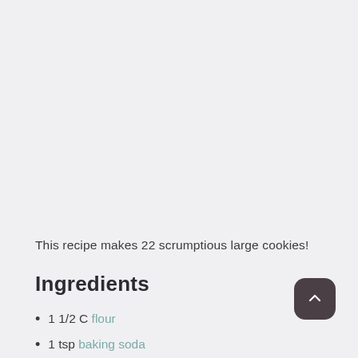This recipe makes 22 scrumptious large cookies!
Ingredients
1 1/2 C flour
1 tsp baking soda